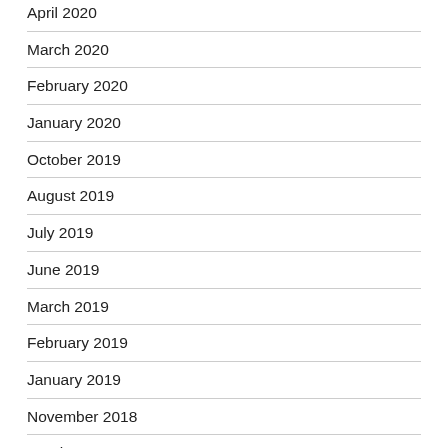April 2020
March 2020
February 2020
January 2020
October 2019
August 2019
July 2019
June 2019
March 2019
February 2019
January 2019
November 2018
October 2018
September 2018